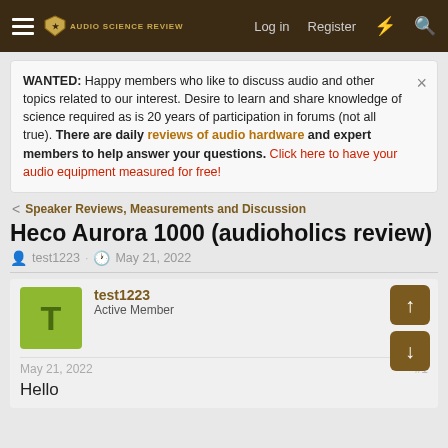Audio Science Review — Log in   Register
WANTED: Happy members who like to discuss audio and other topics related to our interest. Desire to learn and share knowledge of science required as is 20 years of participation in forums (not all true). There are daily reviews of audio hardware and expert members to help answer your questions. Click here to have your audio equipment measured for free!
Speaker Reviews, Measurements and Discussion
Heco Aurora 1000 (audioholics review)
test1223 · May 21, 2022
test1223
Active Member
May 21, 2022  #1
Hello